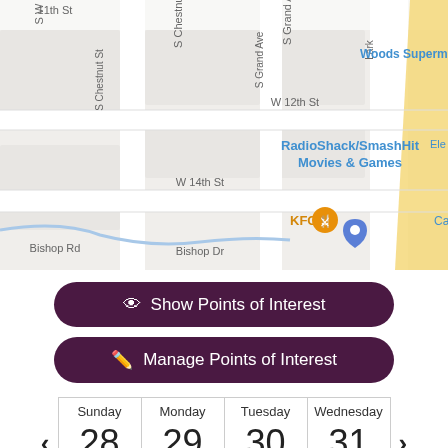[Figure (map): Street map showing intersection near Bishop Rd, Bishop Dr, W 14th St, W 12th St, 11th St, S Chestnut St, S Grand Ave, Lark. Business labels: RadioShack/SmashHit Movies & Games (blue text), Woods Superm (blue text), KFC with orange icon, Carbu (blue text), Ele (blue text). Blue location pin marker visible. Yellow diagonal road visible.]
Show Points of Interest
Manage Points of Interest
| Sunday | Monday | Tuesday | Wednesday |
| --- | --- | --- | --- |
| 28 | 29 | 30 | 31 |
| August | August | August | August |
Schedule Virtual Showing